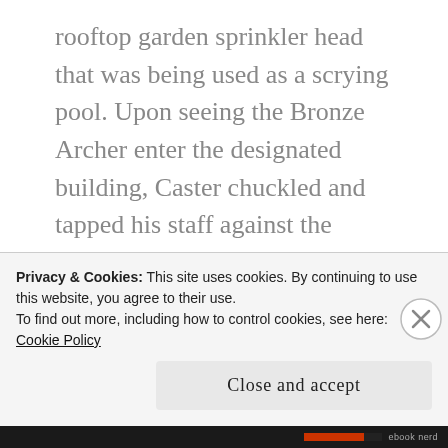rooftop garden sprinkler head that was being used as a scrying pool.  Upon seeing the Bronze Archer enter the designated building, Caster chuckled and tapped his staff against the ground where a rune pattern to trigger his magic was waiting. The smirk on Caster's face widened as the magic emplacements he left behind did their work.

Every internal support structure of the office building had it's beams and pillars blasted apart by Caster's magic circles in the same instant.  Every floor of the six story office building instantly felt the pull of
Privacy & Cookies: This site uses cookies. By continuing to use this website, you agree to their use.
To find out more, including how to control cookies, see here: Cookie Policy
Close and accept